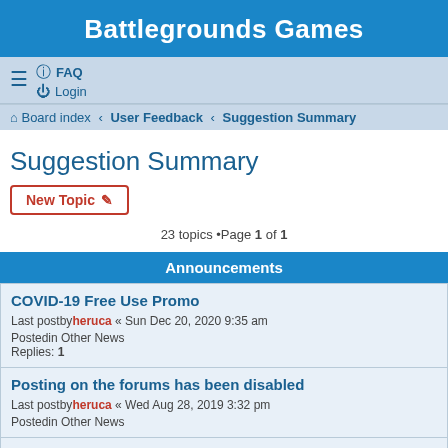Battlegrounds Games
FAQ
Login
Board index · User Feedback · Suggestion Summary
Suggestion Summary
New Topic
23 topics •Page 1 of 1
Announcements
COVID-19 Free Use Promo
Last postby heruca « Sun Dec 20, 2020 9:35 am
Postedin Other News
Replies: 1
Posting on the forums has been disabled
Last postby heruca « Wed Aug 28, 2019 3:32 pm
Postedin Other News
How to get Battlegrounds (BRPG or BGE) to run on nVidia PCs
Last postby heruca « Sun Oct 13, 2019 7:43 pm
Postedin Customer Support
Replies: 6
Summary Guidelines
Last postby Omnidon « Wed Aug 20, 2008 10:13 pm